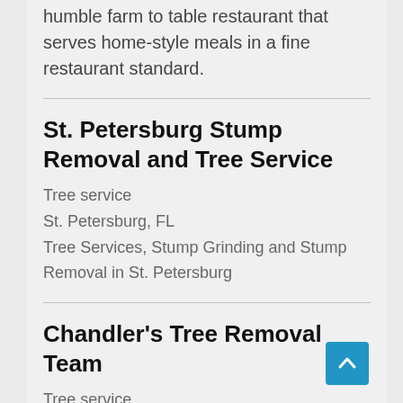humble farm to table restaurant that serves home-style meals in a fine restaurant standard.
St. Petersburg Stump Removal and Tree Service
Tree service
St. Petersburg, FL
Tree Services, Stump Grinding and Stump Removal in St. Petersburg
Chandler's Tree Removal Team
Tree service
Chandler, Arizona